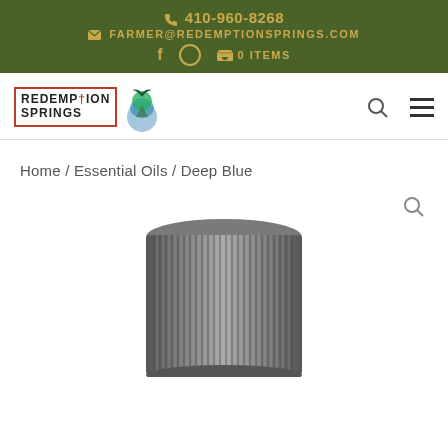📞 410-960-8268
✉ FARMER@REDEMPTIONSPRINGS.COM
f  ○  🛒 0 ITEMS
[Figure (logo): Redemption Springs logo with tree and water illustration, inside a red border box]
Home / Essential Oils / Deep Blue
[Figure (photo): Close-up of the ribbed metal cap of a Deep Blue essential oil bottle]